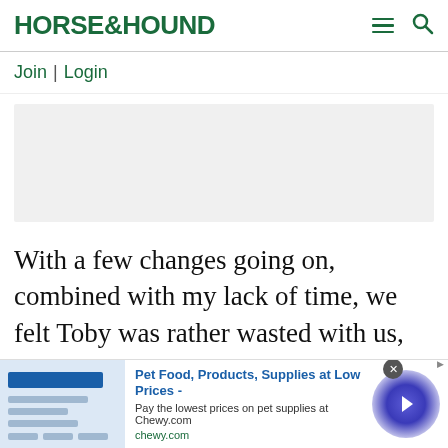HORSE&HOUND
Join | Login
[Figure (other): Gray placeholder advertisement box]
With a few changes going on, combined with my lack of time, we felt Toby was rather wasted with us, so it was time to find him a perfect home where he could fulfill his potential in
[Figure (other): Bottom banner advertisement for Chewy.com: Pet Food, Products, Supplies at Low Prices - Pay the lowest prices on pet supplies at Chewy.com. chewy.com. With arrow navigation button.]